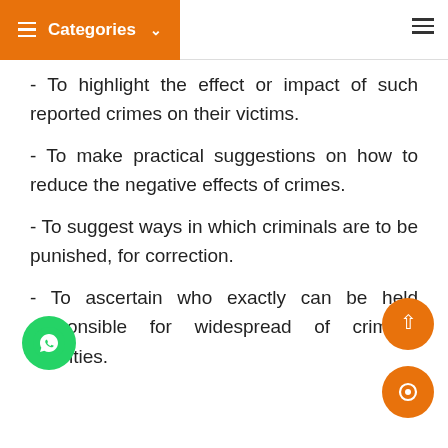≡ Categories ∨  ≡
- To highlight the effect or impact of such reported crimes on their victims.
- To make practical suggestions on how to reduce the negative effects of crimes.
- To suggest ways in which criminals are to be punished, for correction.
- To ascertain who exactly can be held responsible for widespread of criminal activities.